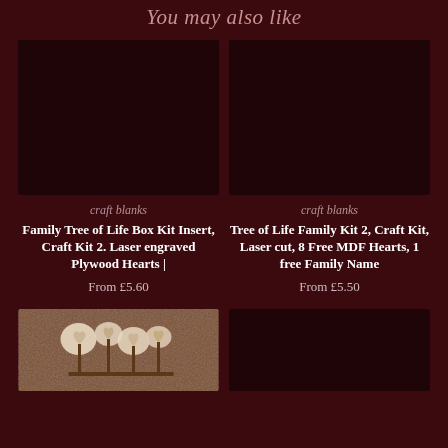You may also like
craft blanks
Family Tree of Life Box Kit Insert, Craft Kit 2. Laser engraved Plywood Hearts |
From £5.60
craft blanks
Tree of Life Family Kit 2, Craft Kit, Laser cut, 8 Free MDF Hearts, 1 free Family Name
From £5.50
[Figure (photo): Product image placeholder - dark background]
[Figure (photo): Product image placeholder - dark background]
[Figure (photo): Wooden hearts craft product photo on wood background]
[Figure (photo): Product image placeholder - dark background]